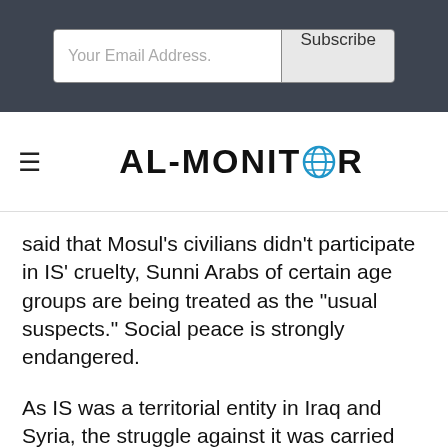[Figure (screenshot): Email subscription bar with input field labeled 'Your Email Address.' and a 'Subscribe' button on a dark gray background]
AL-MONITOR
said that Mosul's civilians didn't participate in IS' cruelty, Sunni Arabs of certain age groups are being treated as the "usual suspects." Social peace is strongly endangered.
As IS was a territorial entity in Iraq and Syria, the struggle against it was carried out with conventional military thinking. The goal was to wipe out the group's so-called state structuring. To keep IS from setting up a state, opponents had to eliminate its revenue sources, destroy its military capacity and target